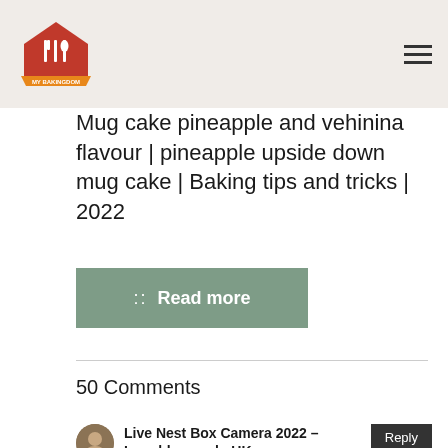My Bakingdom
Mug cake pineapple and vehinina flavour | pineapple upside down mug cake | Baking tips and tricks | 2022
Read more
50 Comments
Live Nest Box Camera 2022 – Loughborough, UK says:
June 11, 2022 at 3:26 pm
The follow up – First Egg hatching to Fledging – is now available here – https://youtu.be/txCB6REY-1w